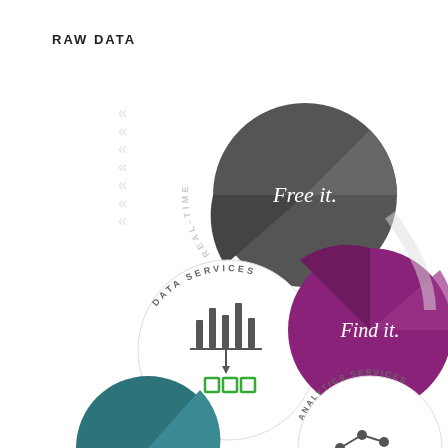RAW DATA
[Figure (infographic): Circular infographic showing data pipeline stages: RAW DATA at top with dashed arrow leading down to a dark grey circle labeled 'Free it.' with 'REAL-TIME' curved text on the left side. Below that is a white circle labeled 'DATA SERVICES' with bar chart icon and green squares. To the right is a purple/magenta circle labeled 'Find it.' with 'ANALYTICS READY' curved text. At the bottom are partial circles: a teal circle on the left and a white circle on the right labeled 'ANALYTICS SERVICES'.]